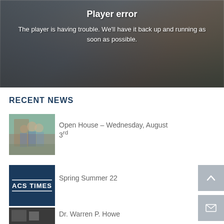[Figure (screenshot): Player error banner overlaid on blurred photo of school students in uniforms. Dark overlay with white text showing error message.]
Player error
The player is having trouble. We'll have it back up and running as soon as possible.
RECENT NEWS
[Figure (photo): Thumbnail photo of students outside a school building, one with arm raised.]
Open House – Wednesday, August 3rd
[Figure (logo): Dark navy blue thumbnail with white text reading ACS TIMES]
Spring Summer 22
[Figure (photo): Partial thumbnail of a dark image, content unclear.]
Dr. Warren P. Howe